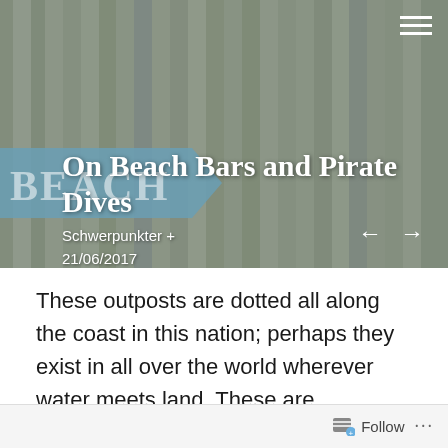[Figure (photo): Hero image of a weathered light green wooden fence with a blue directional beach arrow sign. Pink floral decorations visible at top. Green tropical foliage in upper right corner. White hamburger menu icon in top right.]
On Beach Bars and Pirate Dives
Schwerpunkter +
21/06/2017
These outposts are dotted all along the coast in this nation; perhaps they exist in all over the world wherever water meets land. These are institutions they
Follow ···